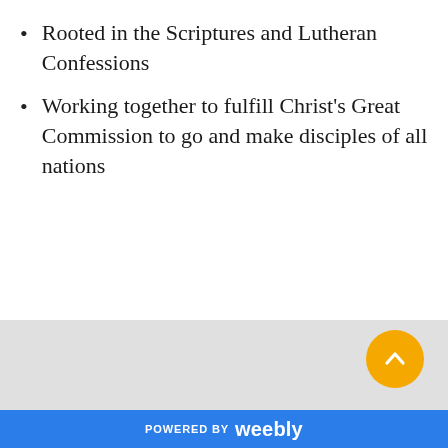Rooted in the Scriptures and Lutheran Confessions
Working together to fulfill Christ's Great Commission to go and make disciples of all nations
POWERED BY weebly